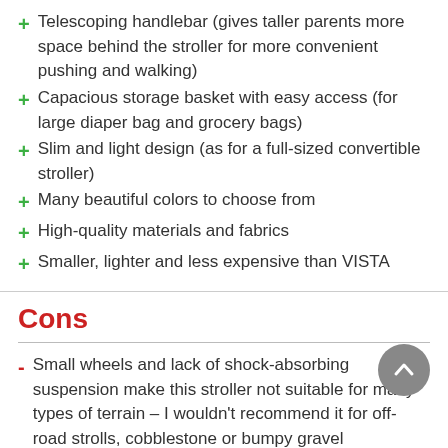+ Telescoping handlebar (gives taller parents more space behind the stroller for more convenient pushing and walking)
+ Capacious storage basket with easy access (for large diaper bag and grocery bags)
+ Slim and light design (as for a full-sized convertible stroller)
+ Many beautiful colors to choose from
+ High-quality materials and fabrics
+ Smaller, lighter and less expensive than VISTA
Cons
- Small wheels and lack of shock-absorbing suspension make this stroller not suitable for many types of terrain – I wouldn't recommend it for off-road strolls, cobblestone or bumpy gravel